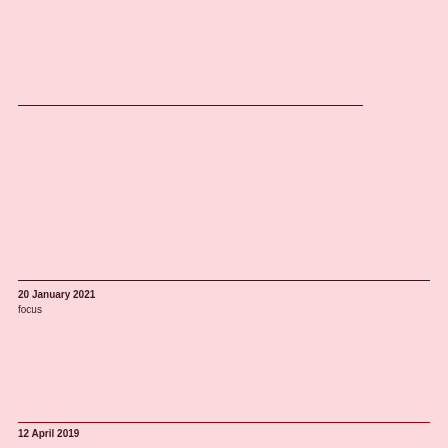20 January 2021
focus
12 April 2019